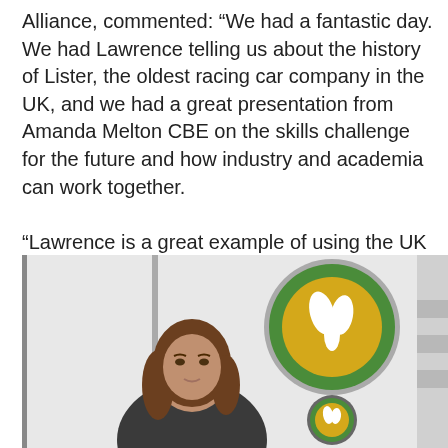Alliance, commented: “We had a fantastic day. We had Lawrence telling us about the history of Lister, the oldest racing car company in the UK, and we had a great presentation from Amanda Melton CBE on the skills challenge for the future and how industry and academia can work together.

“Lawrence is a great example of using the UK supply chain and this is what NAA is all about, promoting the UK automotive supply chain. Thank you Lister cars, what a great day we had!”
[Figure (photo): A woman with brown hair sitting in front of a white wall with a Lister cars green and yellow circular logo/badge mounted on the wall behind her.]